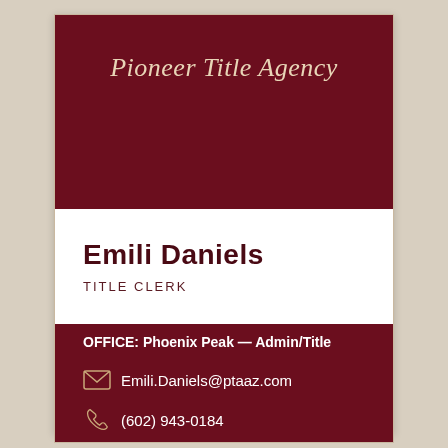Pioneer Title Agency
Emili Daniels
TITLE CLERK
OFFICE: Phoenix Peak — Admin/Title
Emili.Daniels@ptaaz.com
(602) 943-0184